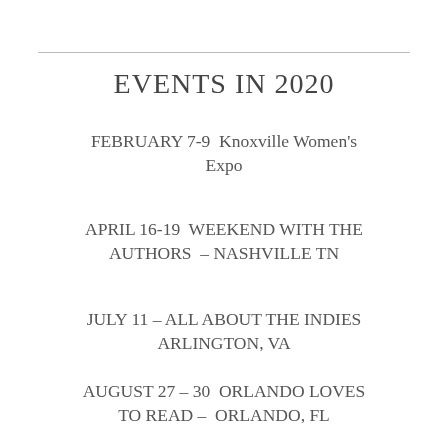EVENTS IN 2020
FEBRUARY 7-9  Knoxville Women's Expo
APRIL 16-19  WEEKEND WITH THE AUTHORS  – NASHVILLE TN
JULY 11 – ALL ABOUT THE INDIES
ARLINGTON, VA
AUGUST 27 – 30  ORLANDO LOVES TO READ –  ORLANDO, FL